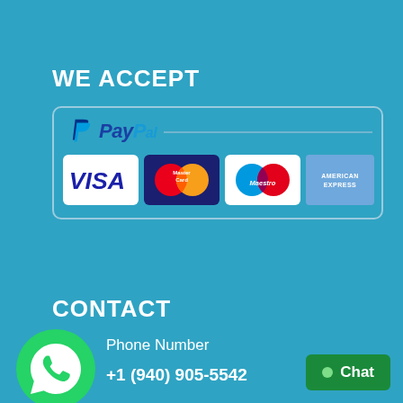WE ACCEPT
[Figure (logo): Payment methods box showing PayPal, Visa, MasterCard, Maestro, and American Express logos inside a rounded rectangle border]
CONTACT
Phone Number
+1 (940) 905-5542
[Figure (logo): WhatsApp green circle logo icon]
Chat